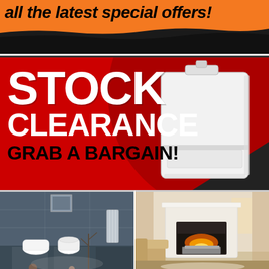[Figure (illustration): Orange promotional banner with bold italic black text 'all the latest special offers!' with a black brushstroke at the bottom]
[Figure (illustration): Red stock clearance promotional banner with white text 'STOCK CLEARANCE GRAB A BARGAIN!' and a white boiler/heating unit on the right side against a dark circular background]
[Figure (photo): Bathroom interior photo showing a dark grey tiled bathroom with white toilet, bidet, and wall-hung fixtures with decorative branches]
[Figure (photo): Living room interior photo showing a white fireplace surround with a lit fire, beige sofa, and cream/neutral decor]